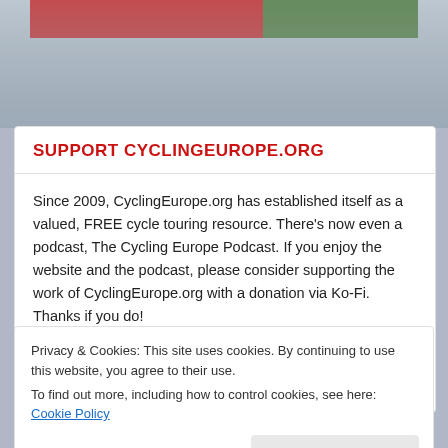[Figure (photo): Partial view of a cycling-related image with red banner and green trees in background]
SUPPORT CYCLINGEUROPE.ORG
Since 2009, CyclingEurope.org has established itself as a valued, FREE cycle touring resource. There's now even a podcast, The Cycling Europe Podcast. If you enjoy the website and the podcast, please consider supporting the work of CyclingEurope.org with a donation via Ko-Fi. Thanks if you do!
🍵 Support Cycling Europe!
Privacy & Cookies: This site uses cookies. By continuing to use this website, you agree to their use.
To find out more, including how to control cookies, see here: Cookie Policy
Close and accept